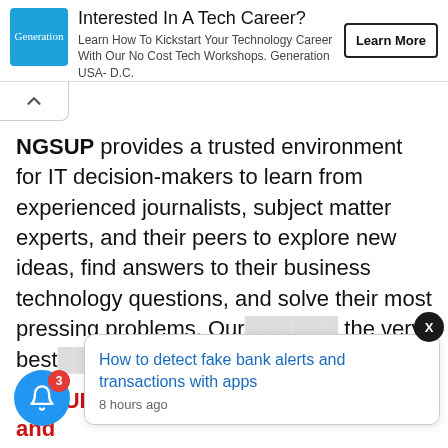[Figure (screenshot): Advertisement banner: Generation USA-D.C. logo in blue, text about Tech Career workshops, and Learn More button]
NGSUP provides a trusted environment for IT decision-makers to learn from experienced journalists, subject matter experts, and their peers to explore new ideas, find answers to their business technology questions, and solve their most pressing problems. Our ... the very best ... in a preci...
[Figure (screenshot): Notification popup: 'How to detect fake bank alerts and transactions with apps' — 8 hours ago]
NGSUP Network Connects everyone and